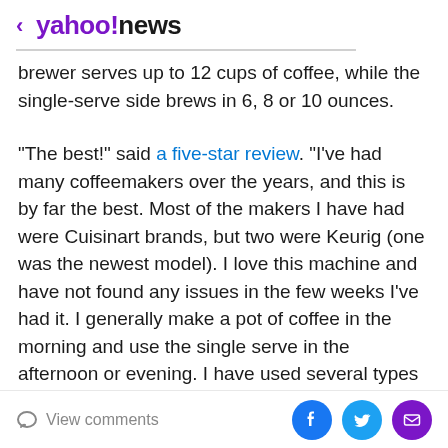< yahoo!news
brewer serves up to 12 cups of coffee, while the single-serve side brews in 6, 8 or 10 ounces.
"The best!" said a five-star review. "I've had many coffeemakers over the years, and this is by far the best. Most of the makers I have had were Cuisinart brands, but two were Keurig (one was the newest model). I love this machine and have not found any issues in the few weeks I've had it. I generally make a pot of coffee in the morning and use the single serve in the afternoon or evening. I have used several types of coffees, and each one tastes great. It is easy to use and clean. Very happy
View comments